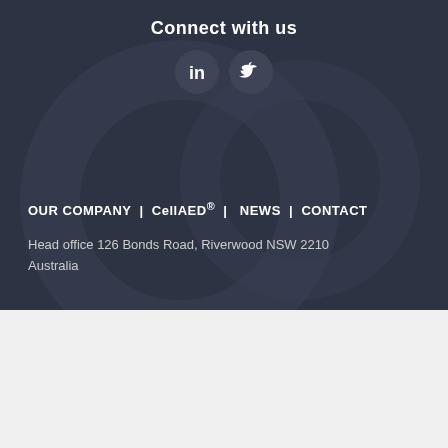Connect with us
[Figure (illustration): LinkedIn and Twitter social media icons as circular buttons on dark background]
OUR COMPANY | CellAED® | NEWS | CONTACT
Head office 126 Bonds Road, Riverwood NSW 2210 Australia
©2021 Rapid Response Revival Research Ltd | Design by Motto Creative
PRIVACY POLICY | TERMS & CONDITIONS